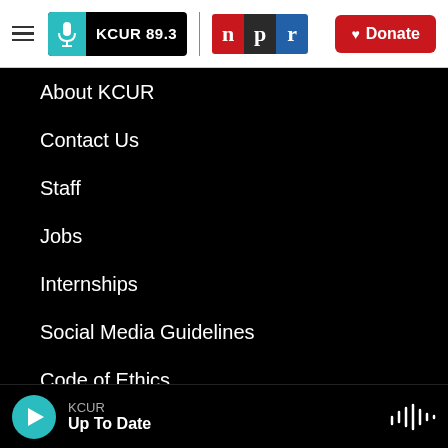KCUR 89.3 | npr | Donate
About KCUR
Contact Us
Staff
Jobs
Internships
Social Media Guidelines
Code of Ethics
Governance
KCUR Up To Date